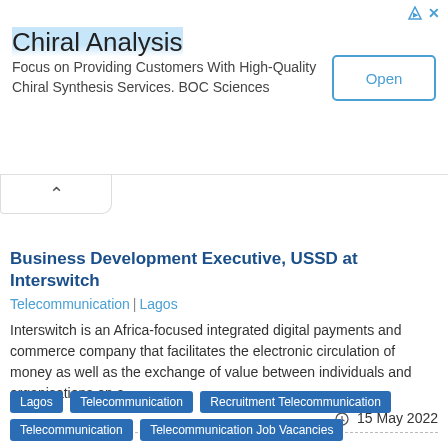[Figure (other): Advertisement banner for Chiral Analysis by BOC Sciences with an Open button]
Business Development Executive, USSD at Interswitch
Telecommunication | Lagos
Interswitch is an Africa-focused integrated digital payments and commerce company that facilitates the electronic circulation of money as well as the exchange of value between individuals and organisations on a…
15 May 2022
Lagos
Telecommunication
Recruitment Telecommunication
Telecommunication
Telecommunication Job Vacancies